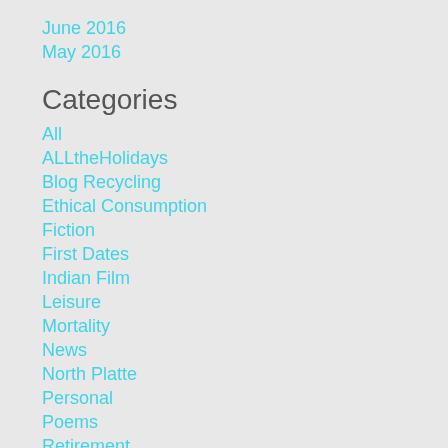June 2016
May 2016
Categories
All
ALLtheHolidays
Blog Recycling
Ethical Consumption
Fiction
First Dates
Indian Film
Leisure
Mortality
News
North Platte
Personal
Poems
Retirement
Ruminations